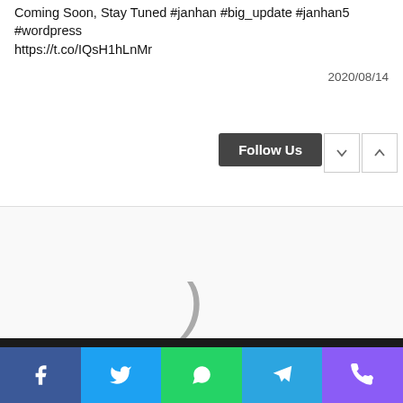Coming Soon, Stay Tuned #janhan #big_update #janhan5 #wordpress https://t.co/IQsH1hLnMr
2020/08/14
Follow Us
[Figure (other): Loading spinner / closing parenthesis character indicating loading state]
© Copyright 2022, All Rights Reserved
[Figure (other): Footer social icons: Facebook, YouTube, GitHub]
[Figure (other): Bottom share bar with icons: Facebook (blue), Twitter (light blue), WhatsApp (green), Telegram (blue), Phone (purple)]